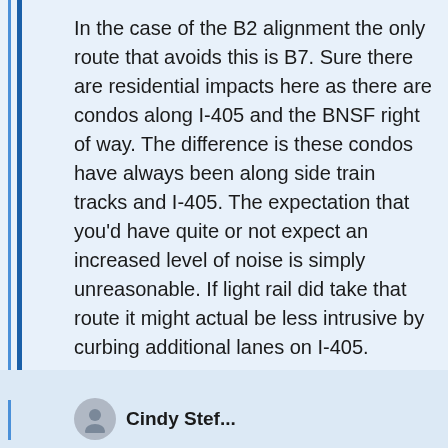In the case of the B2 alignment the only route that avoids this is B7. Sure there are residential impacts here as there are condos along I-405 and the BNSF right of way. The difference is these condos have always been along side train tracks and I-405. The expectation that you'd have quite or not expect an increased level of noise is simply unreasonable. If light rail did take that route it might actual be less intrusive by curbing additional lanes on I-405.